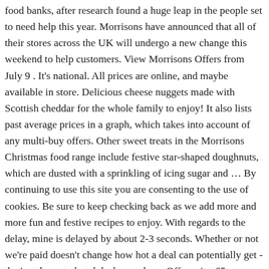food banks, after research found a huge leap in the people set to need help this year. Morrisons have announced that all of their stores across the UK will undergo a new change this weekend to help customers. View Morrisons Offers from July 9 . It's national. All prices are online, and maybe available in store. Delicious cheese nuggets made with Scottish cheddar for the whole family to enjoy! It also lists past average prices in a graph, which takes into account of any multi-buy offers. Other sweet treats in the Morrisons Christmas food range include festive star-shaped doughnuts, which are dusted with a sprinkling of icing sugar and … By continuing to use this site you are consenting to the use of cookies. Be sure to keep checking back as we add more and more fun and festive recipes to enjoy. With regards to the delay, mine is delayed by about 2-3 seconds. Whether or not we're paid doesn't change how hot a deal can potentially get - that's only up to hotukdeals members. Offer price 65p, was 75p. A 15 year old scotch to keep you warm, Carefully hand crafted and aged in